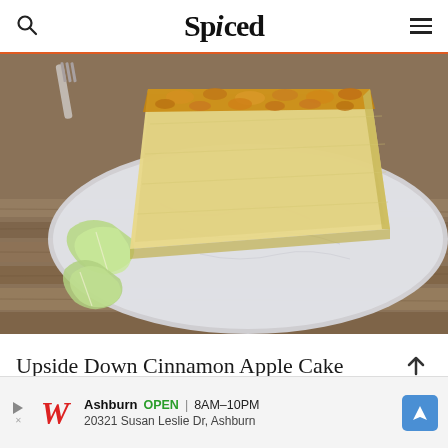Spiced
[Figure (photo): A slice of upside down cinnamon apple cake on a marble plate with green apple slices, placed on a wooden surface.]
Upside Down Cinnamon Apple Cake
Ashburn OPEN | 8AM–10PM 20321 Susan Leslie Dr, Ashburn